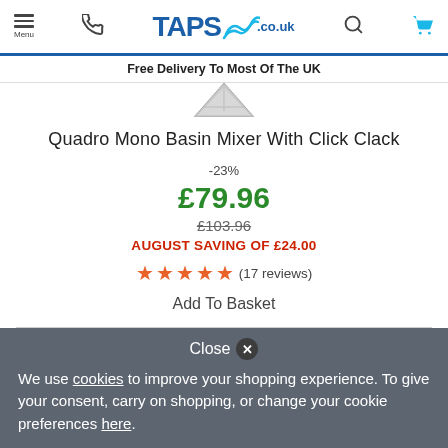TAPS.co.uk — Menu, phone, search, cart navigation
Free Delivery To Most Of The UK
[Figure (photo): Partial view of a chrome basin mixer tap product image (bottom portion visible)]
Quadro Mono Basin Mixer With Click Clack
-23%
£79.96
£103.96
AUGUST SAVING OF £24.00
★★★★★ (17 reviews)
Add To Basket
Close ✕
We use cookies to improve your shopping experience. To give your consent, carry on shopping, or change your cookie preferences here.